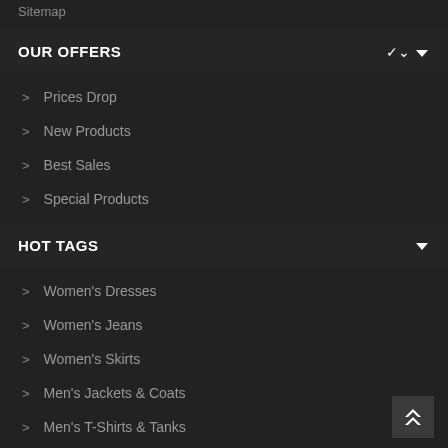Sitemap
OUR OFFERS
Prices Drop
New Products
Best Sales
Special Products
HOT TAGS
Women's Dresses
Women's Jeans
Women's Skirts
Men's Jackets & Coats
Men's T-Shirts & Tanks
YOUR ACCOUNT